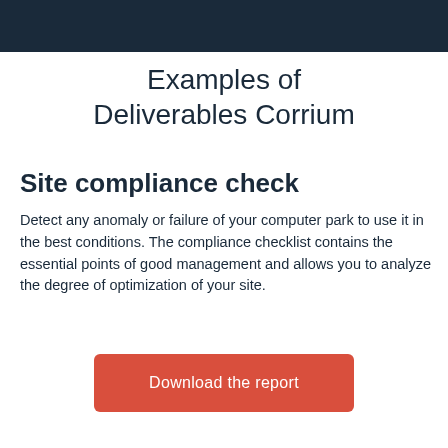Examples of Deliverables Corrium
Site compliance check
Detect any anomaly or failure of your computer park to use it in the best conditions. The compliance checklist contains the essential points of good management and allows you to analyze the degree of optimization of your site.
Download the report